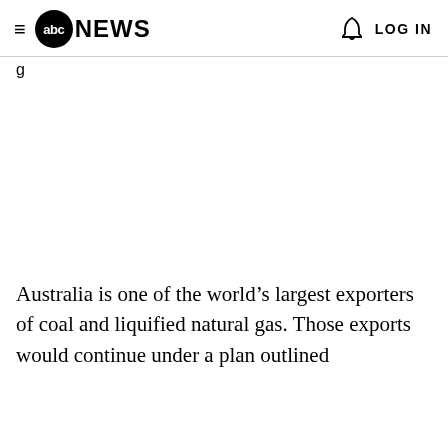abc NEWS  LOG IN
g
Australia is one of the world’s largest exporters of coal and liquified natural gas. Those exports would continue under a plan outlined